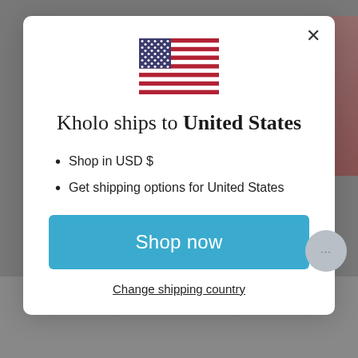[Figure (illustration): US flag emoji/illustration centered at top of modal]
Kholo ships to United States
Shop in USD $
Get shipping options for United States
Shop now
Change shipping country
PRE ORDER
From $199.00 AUD
$180.00 AUD
RED - PRE ORDER
From $199.00 AUD
$180.00 AUD
PRE ORD
From $150.00 A
$140.00 AUD